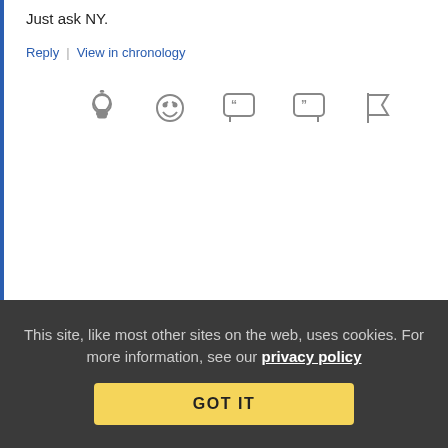Just ask NY.
Reply | View in chronology
[Figure (illustration): Row of five comment action icons: lightbulb, laughing emoji, quote bubble, quote close bubble, flag]
Dave Nelson (profile)   January 3, 2013 at 8:51 am
Follow the Money!
Who benefits from these “errors” not being fixed? The patent trolls, and any corporation that has managed to get a flakey patent through the PTO. Money talks, good intentions walk. ‘Nuff
This site, like most other sites on the web, uses cookies. For more information, see our privacy policy
GOT IT